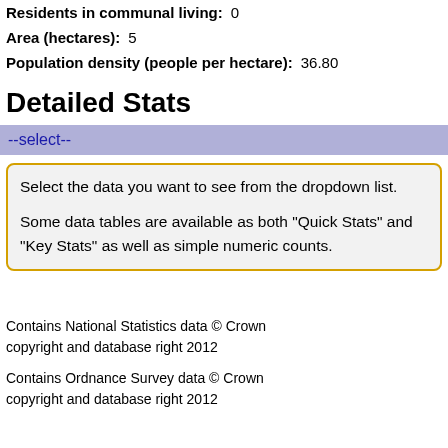Residents in communal living: 0
Area (hectares): 5
Population density (people per hectare): 36.80
Detailed Stats
--select--
Select the data you want to see from the dropdown list.

Some data tables are available as both "Quick Stats" and "Key Stats" as well as simple numeric counts.
Contains National Statistics data © Crown copyright and database right 2012

Contains Ordnance Survey data © Crown copyright and database right 2012